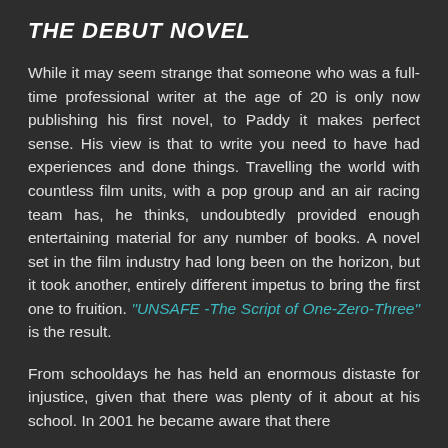THE DEBUT NOVEL
While it may seem strange that someone who was a full-time professional writer at the age of 20 is only now publishing his first novel, to Paddy it makes perfect sense.  His view is that to write you need to have had experiences and done things.  Travelling the world with countless film units, with a pop group and an air racing team has, he thinks, undoubtedly provided enough entertaining material for any number of books.  A novel set in the film industry had long been on the horizon, but it took another, entirely different impetus to bring the first one to fruition.  "UNSAFE -The Script of One-Zero-Three" is the result.
From schooldays he has held an enormous distaste for injustice, given that there was plenty of it about at his school.  In 2001 he became aware that there